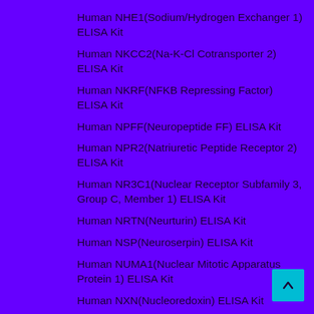Human NHE1(Sodium/Hydrogen Exchanger 1) ELISA Kit
Human NKCC2(Na-K-Cl Cotransporter 2) ELISA Kit
Human NKRF(NFKB Repressing Factor) ELISA Kit
Human NPFF(Neuropeptide FF) ELISA Kit
Human NPR2(Natriuretic Peptide Receptor 2) ELISA Kit
Human NR3C1(Nuclear Receptor Subfamily 3, Group C, Member 1) ELISA Kit
Human NRTN(Neurturin) ELISA Kit
Human NSP(Neuroserpin) ELISA Kit
Human NUMA1(Nuclear Mitotic Apparatus Protein 1) ELISA Kit
Human NXN(Nucleoredoxin) ELISA Kit